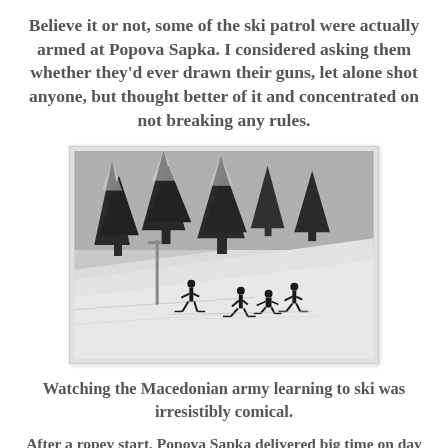Believe it or not, some of the ski patrol were actually armed at Popova Sapka. I considered asking them whether they'd ever drawn their guns, let alone shot anyone, but thought better of it and concentrated on not breaking any rules.
[Figure (photo): Black and white photo of a snowy ski slope with tall evergreen trees in the background and several skiers visible on the slope.]
Watching the Macedonian army learning to ski was irresistibly comical.
After a ropey start, Popova Sapka delivered big time on day